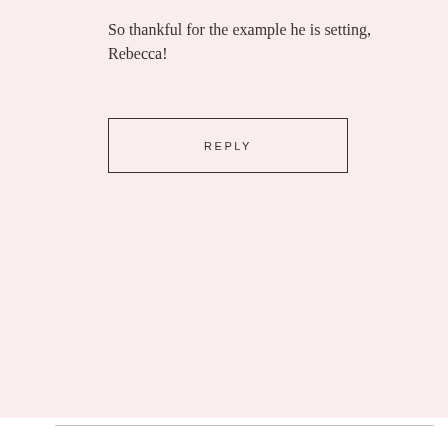So thankful for the example he is setting, Rebecca!
REPLY
[Figure (illustration): Red gerbera daisy flower avatar image]
lizzy
JUNE 13, 2015
I have had my mom here this week, and I'm not sure I'll get